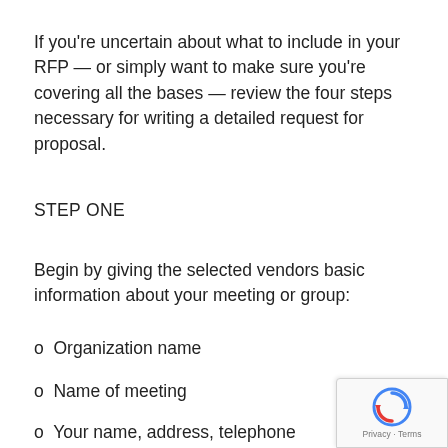If you're uncertain about what to include in your RFP — or simply want to make sure you're covering all the bases — review the four steps necessary for writing a detailed request for proposal.
STEP ONE
Begin by giving the selected vendors basic information about your meeting or group:
o  Organization name
o  Name of meeting
o  Your name, address, telephone and fax numbers,